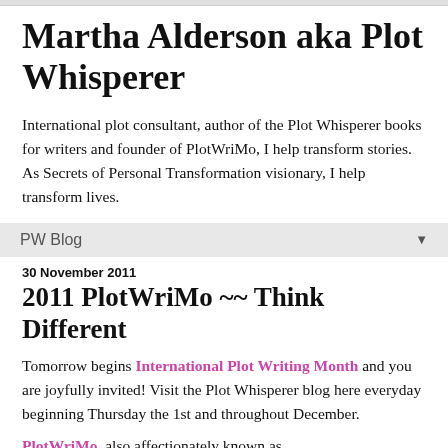Martha Alderson aka Plot Whisperer
International plot consultant, author of the Plot Whisperer books for writers and founder of PlotWriMo, I help transform stories. As Secrets of Personal Transformation visionary, I help transform lives.
PW Blog ▼
30 November 2011
2011 PlotWriMo ~~ Think Different
Tomorrow begins International Plot Writing Month and you are joyfully invited! Visit the Plot Whisperer blog here everyday beginning Thursday the 1st and throughout December.
PlotWriMo, also affectionately known as PostNaNoPlotPerfection